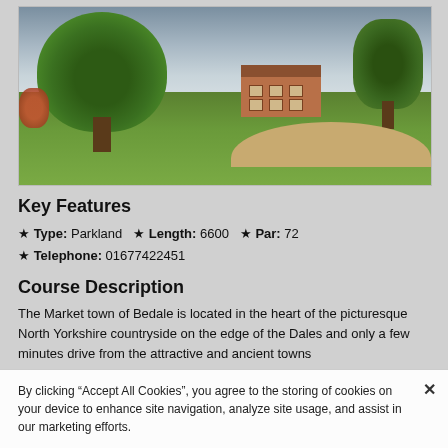[Figure (photo): Aerial/ground-level view of a parkland golf course with large green trees, a red-brick clubhouse building, sand bunker, and manicured grass fairway under a cloudy sky.]
Key Features
★ Type: Parkland ★ Length: 6600 ★ Par: 72 ★ Telephone: 01677422451
Course Description
The Market town of Bedale is located in the heart of the picturesque North Yorkshire countryside on the edge of the Dales and only a few minutes drive from the attractive and ancient towns
By clicking “Accept All Cookies”, you agree to the storing of cookies on your device to enhance site navigation, analyze site usage, and assist in our marketing efforts.